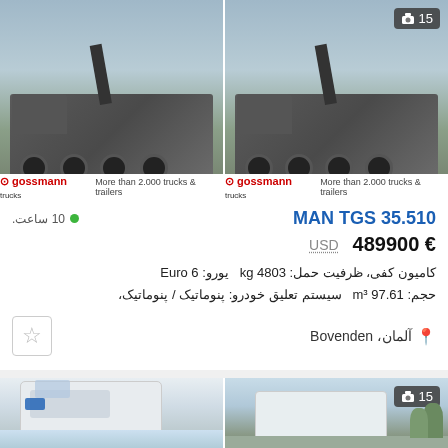[Figure (photo): Two photos of a MAN TGS 35.510 flatbed truck with crane, shown from front-left angle, with Gossmann trucks branding bar at bottom. Second photo has badge '85151' and photo count badge showing camera icon and 15.]
10 ساعت. ●
MAN TGS 35.510
489900 € USD
کامیون کفی، ظرفیت حمل: 4803 kg  یورو: Euro 6  حجم: 97.61 m³  سیستم تعلیق خودرو: پنوماتیک / پنوماتیک،
آلمان، Bovenden
[Figure (photo): Two photos of MAN trucks - a white MAN truck cab on the left and another truck on the right with photo count badge showing 15.]